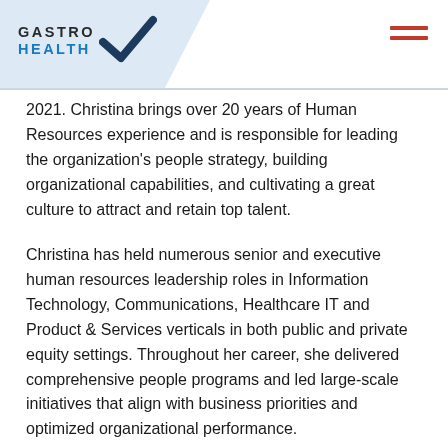Gastro Health
2021. Christina brings over 20 years of Human Resources experience and is responsible for leading the organization's people strategy, building organizational capabilities, and cultivating a great culture to attract and retain top talent.
Christina has held numerous senior and executive human resources leadership roles in Information Technology, Communications, Healthcare IT and Product & Services verticals in both public and private equity settings. Throughout her career, she delivered comprehensive people programs and led large-scale initiatives that align with business priorities and optimized organizational performance.
Christina holds a BS in Business Management.